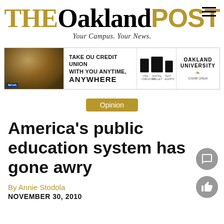THE Oakland POST — Your Campus. Your News.
[Figure (infographic): Advertisement banner for Oakland University Credit Union: 'Take OU Credit Union with you anytime, anywhere' with photo of person studying, device icons, and Oakland University Credit Union logo.]
Opinion
America's public education system has gone awry
By Annie Stodola
NOVEMBER 30, 2010